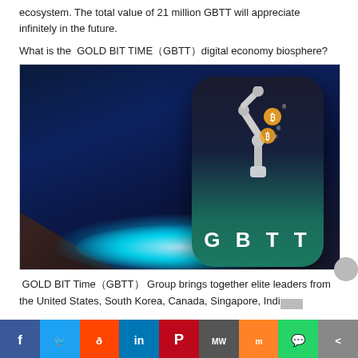ecosystem. The total value of 21 million GBTT will appreciate infinitely in the future.
What is the  GOLD BIT TIME（GBTT）digital economy biosphere?
[Figure (illustration): GBTT app icon showing a robotic arm holding Bitcoin symbols, with glowing blue ring base on dark blue space background, with 'GBTT' text label at bottom of card]
GOLD BIT Time（GBTT） Group brings together elite leaders from the United States, South Korea, Canada, Singapore, India
Social share buttons: Facebook, Twitter, Reddit, LinkedIn, Pinterest, MW, Mix, WhatsApp, Share